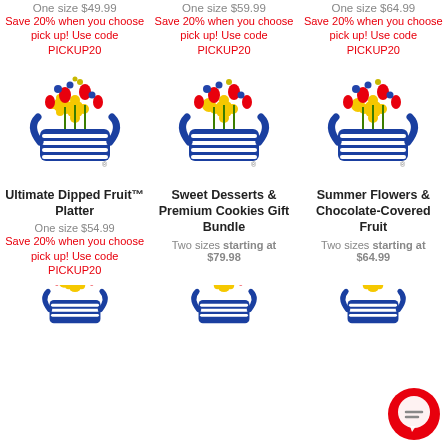One size $49.99
Save 20% when you choose pick up! Use code PICKUP20
One size $59.99
Save 20% when you choose pick up! Use code PICKUP20
One size $64.99
Save 20% when you choose pick up! Use code PICKUP20
[Figure (logo): Edible Arrangements fruit basket logo - flowers and fruit in blue striped basket]
[Figure (logo): Edible Arrangements fruit basket logo - flowers and fruit in blue striped basket]
[Figure (logo): Edible Arrangements fruit basket logo - flowers and fruit in blue striped basket]
Ultimate Dipped Fruit™ Platter
One size $54.99
Save 20% when you choose pick up! Use code PICKUP20
Sweet Desserts & Premium Cookies Gift Bundle
Two sizes starting at $79.98
Summer Flowers & Chocolate-Covered Fruit
Two sizes starting at $64.99
[Figure (logo): Edible Arrangements fruit basket logo - partial view at bottom]
[Figure (logo): Edible Arrangements fruit basket logo - partial view at bottom]
[Figure (logo): Edible Arrangements fruit basket logo - partial view at bottom]
[Figure (other): Red chat/message bubble icon in bottom right corner]